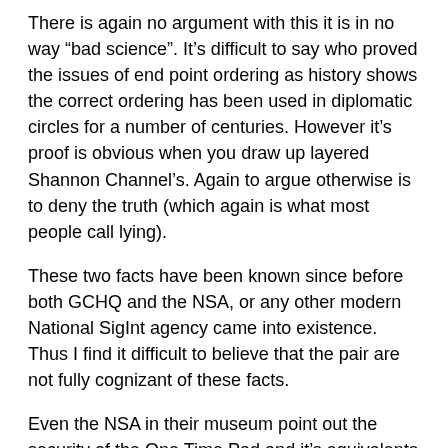There is again no argument with this it is in no way “bad science”. It’s difficult to say who proved the issues of end point ordering as history shows the correct ordering has been used in diplomatic circles for a number of centuries. However it’s proof is obvious when you draw up layered Shannon Channel’s. Again to argue otherwise is to deny the truth (which again is what most people call lying).
These two facts have been known since before both GCHQ and the NSA, or any other modern National SigInt agency came into existence. Thus I find it difficult to believe that the pair are not fully cognizant of these facts.
Even the NSA in their museum point out the security of the One Time Pad and it’s equivalents the One Time Tape and One Time Phrases all of which were used during WWII, and have been well written about in the public domain.
[1] Gilbert Vernam was an AT&T engineer looking to solve the security problem of telex communications. He pattented back in 1917 the machinery for making and using an electronic cipher. Cptn Joseph Maubourgne laid down certain conditions for the use of that equipment that gave it